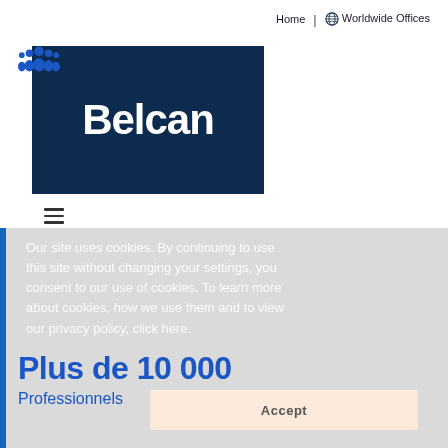Home | Worldwide Offices
[Figure (logo): Belcan logo: white bold text 'Belcan' on dark navy blue background]
[Figure (other): Hamburger menu icon (three horizontal lines)]
Our site uses cookies. By continuing to use this site without changing your settings, you consent to our use of cookies. To learn more about cookies, how we use them and to view our privacy policy, click here.
[Figure (illustration): Blue people/group icon representing professionals]
Plus de 10 000
Professionnels
Accept